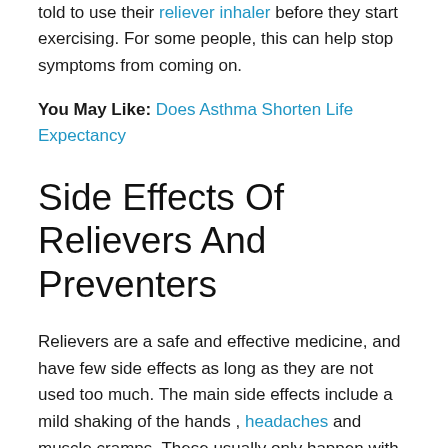told to use their reliever inhaler before they start exercising. For some people, this can help stop symptoms from coming on.
You May Like: Does Asthma Shorten Life Expectancy
Side Effects Of Relievers And Preventers
Relievers are a safe and effective medicine, and have few side effects as long as they are not used too much. The main side effects include a mild shaking of the hands , headaches and muscle cramps. These usually only happen with high doses of reliever inhaler and usually only last for a few minutes.
Preventers are very safe at usual doses, although they can